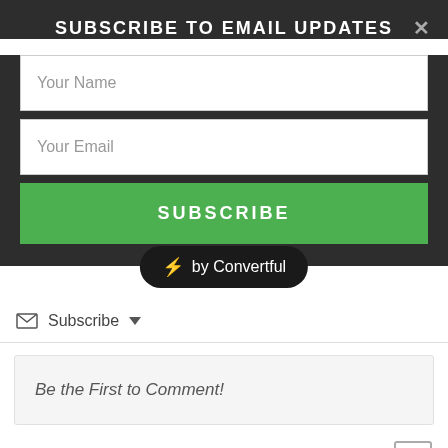SUBSCRIBE TO EMAIL UPDATES
Your Name
Your Email
SUBSCRIBE
⚡ by Convertful
✉ Subscribe ▾
Be the First to Comment!
MMENTS